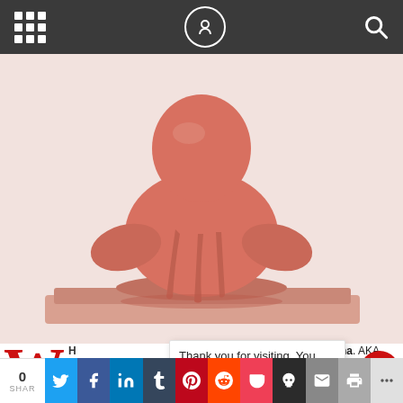Navigation bar with grid menu, site logo, and search icon
[Figure (photo): Close-up photo of a pink/salmon colored figurine or wax sculpture of a person in a meditative pose, melting or dripping, placed on a flat surface against a white background]
W H [drop cap W] ...second-gene... party monst...
Thank you for visiting. You can now buy me a coffee!
ke$ha. AKA he p [coffee icon]
0 SHAR [Twitter] [Facebook] [LinkedIn] [Tumblr] [Pinterest] [Reddit] [Pocket] [Skull] [Mail] [Print] [More]